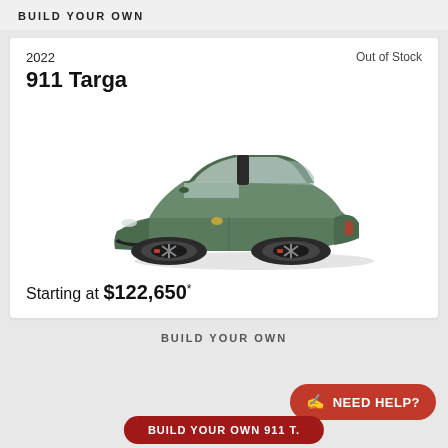BUILD YOUR OWN
Out of Stock
2022
911 Targa
[Figure (photo): Green Porsche 911 Targa sports car, three-quarter front view, on white background]
Starting at $122,650*
BUILD YOUR OWN
NEED HELP?
BUILD YOUR OWN 911 T.